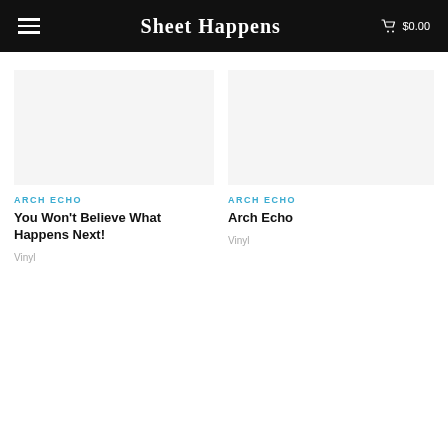Sheet Happens  $0.00
ARCH ECHO
You Won't Believe What Happens Next!
Vinyl
ARCH ECHO
Arch Echo
Vinyl